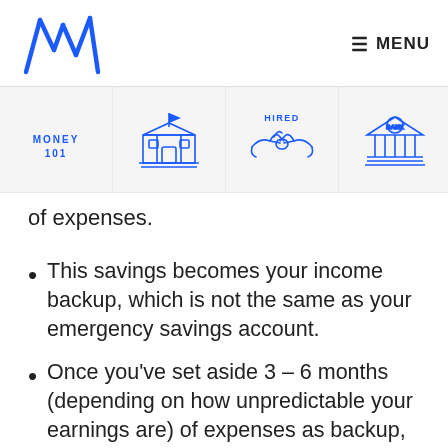M logo | ≡ MENU
[Figure (infographic): Navigation row with 5 icon tiles: MONEY 101 (text), school building with flag, handshake with HIRED label, bank building, and a partially visible 5th tile with blue border (active)]
of expenses.
This savings becomes your income backup, which is not the same as your emergency savings account.
Once you've set aside 3 – 6 months (depending on how unpredictable your earnings are) of expenses as backup, you can